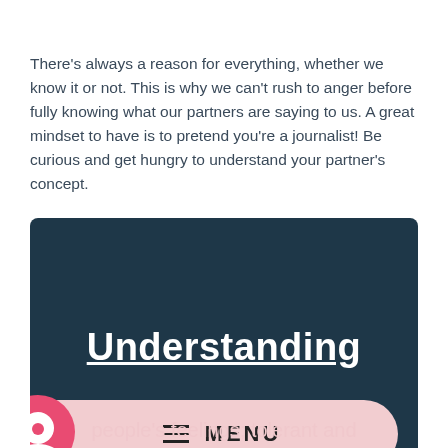There's always a reason for everything, whether we know it or not. This is why we can't rush to anger before fully knowing what our partners are saying to us. A great mindset to have is to pretend you're a journalist! Be curious and get hungry to understand your partner's concept.
[Figure (screenshot): Dark navy blue box with the word 'Understanding' in large white bold text with a white underline beneath it. Below is a pink/blush colored pill-shaped menu bar with a pink circular chat icon on the left and a hamburger menu icon with the word MENU in uppercase. At the bottom, partial text reads 'people's feelings; tolerant and'.]